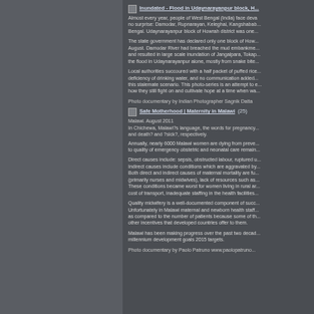Inundated - Flood in Udaynarayanpur block, H...
Almost every year, people of West Bengal (India) face deva... no surprise: Damodar, Rupnarayan, Keleghai, Kangshabab... Bengal. Udaynarayanpur block of Howrah district was one...
The state government has declared only one block of How... August. Damodar River had breached the mud embankme... and resulted in large scale inundation of Jangalpara, Tokap... the flood in Udaynarayanpur alone, mostly from snake bite...
Local authorities succoured with a half packet of puffed rice... deficiency of drinking water, and no communication added... this stalemate scenario. This photo-series is an attempt to... how they still fight on and cultivate hope at a time when wa...
Photo documentary by Indian Photographer Sagnik Datta
Safe Motherhood | Maternity in Malawi (25)
Malawi. August 2011
In Chichewa, Malawi?s language, the words for pregnancy... and death? and ?sick?, respectively.
Annually, nearly 6000 Malawi women are dying from preve... to quality of emergency obstetric and neonatal care remain...
Direct causes include: sepsis, obstructed labour, ruptured u... Indirect causes include conditions which are aggravated by... Both direct and indirect causes of maternal mortality are fu... (primarily nurses and midwives), lack of resources such as... These conditions became worst for women living in rural ar... cost of transport, inadequate staffing in the health facilities...
Quality midwifery is a well-documented component of succ... Unfortunately in Malawi maternal and newborn health staff... as compared to the number of patients because some of th... other incentives that developed countries offer to them.
Malawi has been making progress over the past two decad... millennium development goals 2015 targets.
Photo documentary by Paolo Patruno www.paolopatruno...